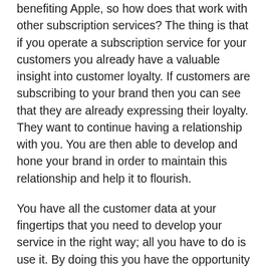benefiting Apple, so how does that work with other subscription services? The thing is that if you operate a subscription service for your customers you already have a valuable insight into customer loyalty. If customers are subscribing to your brand then you can see that they are already expressing their loyalty. They want to continue having a relationship with you. You are then able to develop and hone your brand in order to maintain this relationship and help it to flourish.
You have all the customer data at your fingertips that you need to develop your service in the right way; all you have to do is use it. By doing this you have the opportunity to maximize your revenue potential in the same way that Apple does.